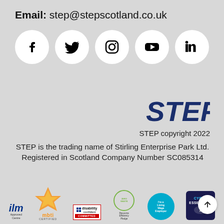Email: step@stepscotland.co.uk
[Figure (infographic): Row of five social media icons (Facebook, Twitter, Instagram, YouTube, LinkedIn) each in a white circle on a grey background]
[Figure (logo): STEP logo in bold dark navy italic text]
STEP copyright 2022
STEP is the trading name of Stirling Enterprise Park Ltd.
Registered in Scotland Company Number SC085314
[Figure (infographic): Row of certification and accreditation logos: ILM Approved Centre, MBTI Certified, Disability Confident Committed, Zero Waste Scotland Resource Efficiency Pledge, Living Wage Employer, Cyber Essentials]